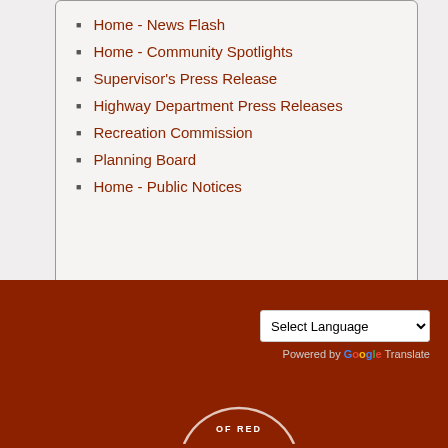Home - News Flash
Home - Community Spotlights
Supervisor's Press Release
Highway Department Press Releases
Recreation Commission
Planning Board
Home - Public Notices
[Figure (other): Dark navy/teal horizontal banner bar]
Select Language | Powered by Google Translate | Town of Red Hook seal